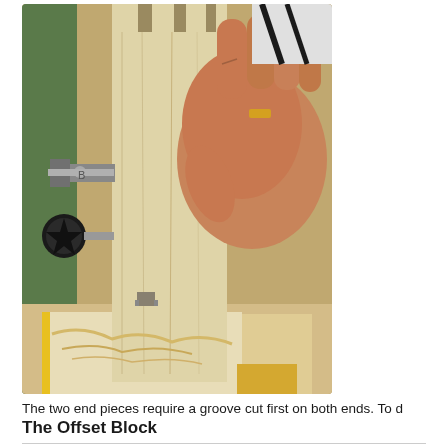[Figure (photo): A person's hand holding a wooden jig/fixture with box joint fingers cut at the top, positioned vertically in what appears to be a router table or similar woodworking setup. The jig has a black knob on the left side. Wood shavings are visible at the base. The background shows a workshop environment.]
The two end pieces require a groove cut first on both ends. To d
The Offset Block